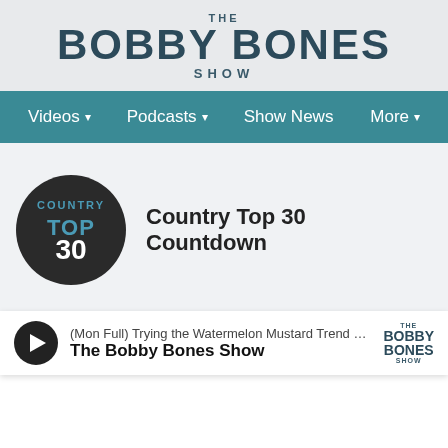[Figure (logo): The Bobby Bones Show logo/header with 'THE', 'BOBBY BONES', 'SHOW' text]
Videos  Podcasts  Show News  More
[Figure (logo): Country Top 30 circular logo with dark background and blue text]
Country Top 30 Countdown
(Mon Full) Trying the Watermelon Mustard Trend + Lunchb
The Bobby Bones Show